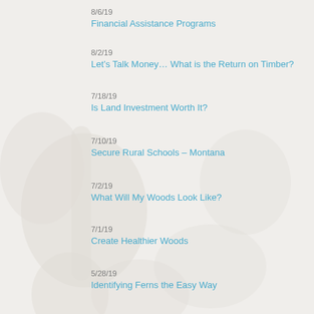8/6/19
Financial Assistance Programs
8/2/19
Let’s Talk Money… What is the Return on Timber?
7/18/19
Is Land Investment Worth It?
7/10/19
Secure Rural Schools – Montana
7/2/19
What Will My Woods Look Like?
7/1/19
Create Healthier Woods
5/28/19
Identifying Ferns the Easy Way